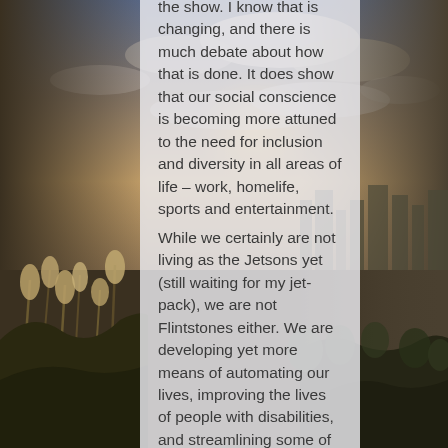[Figure (photo): Landscape background photo showing a scenic overlook with grass/reed plants on the left foreground, a city skyline on the right, and a dramatic cloudy sky above at sunset/dusk. The image flanks both sides of a central translucent text panel.]
the show. I know that is changing, and there is much debate about how that is done. It does show that our social conscience is becoming more attuned to the need for inclusion and diversity in all areas of life – work, homelife, sports and entertainment. While we certainly are not living as the Jetsons yet (still waiting for my jet-pack), we are not Flintstones either. We are developing yet more means of automating our lives, improving the lives of people with disabilities, and streamlining some of our work processes. However, I don't think anyone here